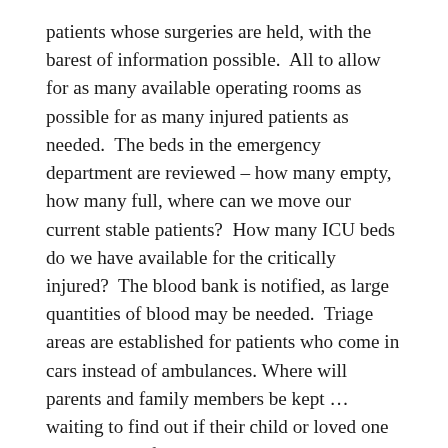patients whose surgeries are held, with the barest of information possible.  All to allow for as many available operating rooms as possible for as many injured patients as needed.  The beds in the emergency department are reviewed – how many empty, how many full, where can we move our current stable patients?  How many ICU beds do we have available for the critically injured?  The blood bank is notified, as large quantities of blood may be needed.  Triage areas are established for patients who come in cars instead of ambulances. Where will parents and family members be kept … waiting to find out if their child or loved one is there, and if so, what has happened to them?  The Emergency Department becomes a hub, the center of a hive buzzing with energy, anxiety, and, most of all, determination.
The waiting happens, with minds and muscles tensed. You get information… slowly… piecemeal… a bit at a